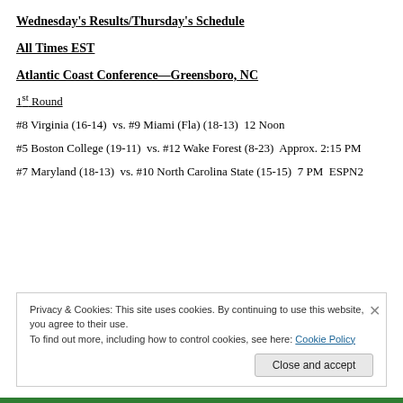Wednesday's Results/Thursday's Schedule
All Times EST
Atlantic Coast Conference—Greensboro, NC
1st Round
#8 Virginia (16-14)  vs. #9 Miami (Fla) (18-13)  12 Noon
#5 Boston College (19-11)  vs. #12 Wake Forest (8-23)  Approx. 2:15 PM
#7 Maryland (18-13)  vs. #10 North Carolina State (15-15)  7 PM  ESPN2
Privacy & Cookies: This site uses cookies. By continuing to use this website, you agree to their use.
To find out more, including how to control cookies, see here: Cookie Policy